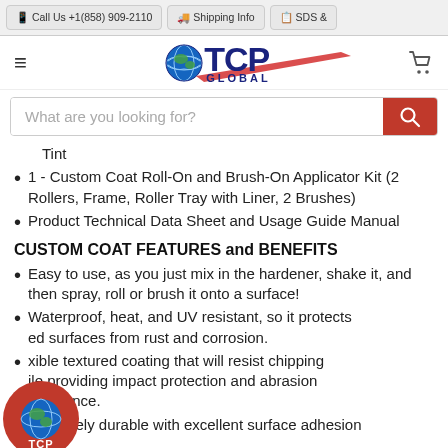Call Us +1(858) 909-2110 | Shipping Info | SDS &
[Figure (logo): TCP Global logo with globe icon, red swoosh, blue TCP text and GLOBAL subtitle]
What are you looking for?
Tint
1 - Custom Coat Roll-On and Brush-On Applicator Kit (2 Rollers, Frame, Roller Tray with Liner, 2 Brushes)
Product Technical Data Sheet and Usage Guide Manual
CUSTOM COAT FEATURES and BENEFITS
Easy to use, as you just mix in the hardener, shake it, and then spray, roll or brush it onto a surface!
Waterproof, heat, and UV resistant, so it protects ed surfaces from rust and corrosion.
xible textured coating that will resist chipping ile providing impact protection and abrasion resistance.
Extremely durable with excellent surface adhesion
[Figure (logo): TCP circular red badge logo with globe icon]